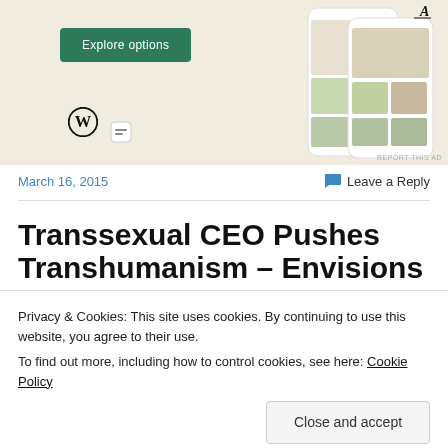[Figure (screenshot): WordPress.com advertisement showing mobile app UI with food photos, Explore options button, WordPress logo, and a square icon]
March 16, 2015
Leave a Reply
Transsexual CEO Pushes Transhumanism – Envisions
Privacy & Cookies: This site uses cookies. By continuing to use this website, you agree to their use.
To find out more, including how to control cookies, see here: Cookie Policy
Close and accept
[Figure (screenshot): Bottom dark strip with italic 'lite' text]